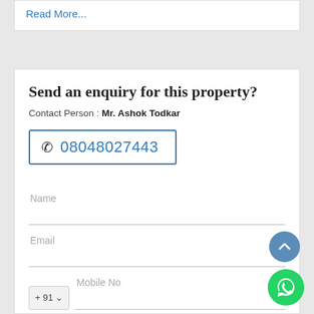Read More...
Send an enquiry for this property?
Contact Person : Mr. Ashok Todkar
08048027443
Name
Email
+ 91   Mobile No
I am interested in 2 BHK Flat For Sale In Wagholi, Pune. Please get in contact with me.